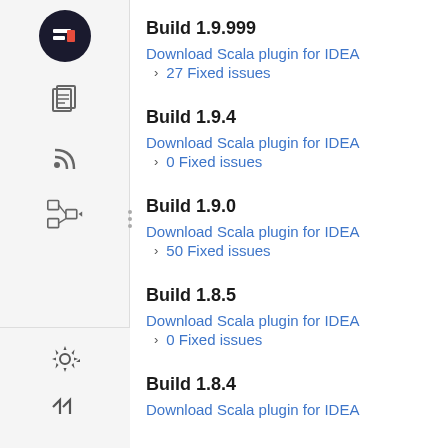Build 1.9.999
Download Scala plugin for IDEA
27 Fixed issues
Build 1.9.4
Download Scala plugin for IDEA
0 Fixed issues
Build 1.9.0
Download Scala plugin for IDEA
50 Fixed issues
Build 1.8.5
Download Scala plugin for IDEA
0 Fixed issues
Build 1.8.4
Download Scala plugin for IDEA